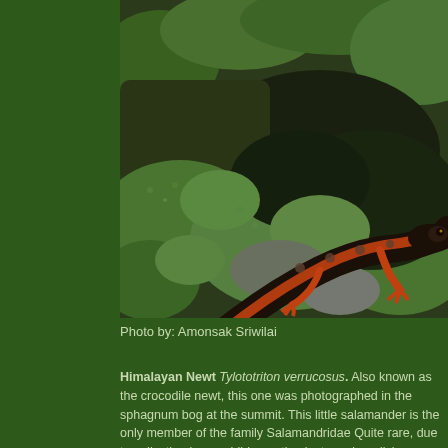[Figure (photo): Close-up photograph of a Himalayan Newt (Tylototriton verrucosus) on mossy rocks. The salamander has dark black/brown dorsal coloring with vivid orange-red sides, tail, and limbs. It is posed on green sphagnum moss with dark rocky substrate visible.]
Photo by: Amonsak Sriwilai
Himalayan Newt Tylototriton verrucosus. Also known as the crocodile newt, this one was photographed in the sphagnum bog at the summit. This little salamander is the only member of the family Salamandridae in Thailand. Quite rare, due to collecting by amphibian enthusiasts and medicine.